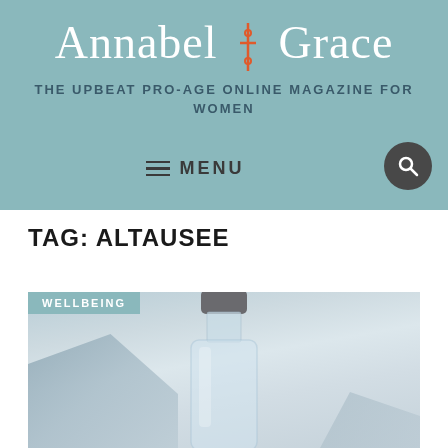Annabel & Grace — THE UPBEAT PRO-AGE ONLINE MAGAZINE FOR WOMEN
TAG: ALTAUSEE
[Figure (photo): A glass water bottle with a dark grey cap photographed against a misty mountain landscape background, in cool blue-grey tones. A teal 'WELLBEING' category tag overlays the top-left corner.]